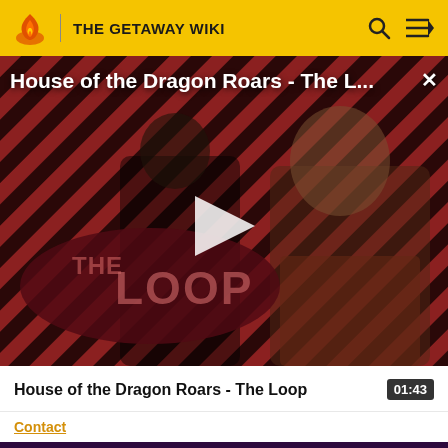THE GETAWAY WIKI
[Figure (screenshot): Video thumbnail showing House of the Dragon Roars - The Loop with two characters and a play button overlay, red and black diagonal stripe background, The Loop logo in bottom left]
House of the Dragon Roars - The L...
House of the Dragon Roars - The Loop   01:43
Contact
COMMUNITY